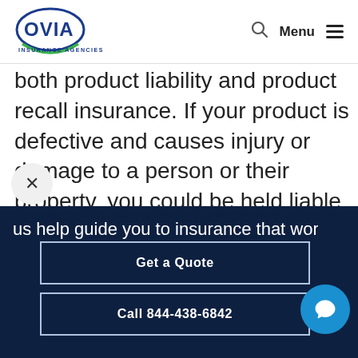OVIA Insurance Agencies — Search, Menu
both product liability and product recall insurance. If your product is defective and causes injury or damage to a person or their property, you could be held liable. At that point, you might be forced to recall a product. That's where
us help guide you to insurance that wor
Get a Quote
Call 844-438-6842